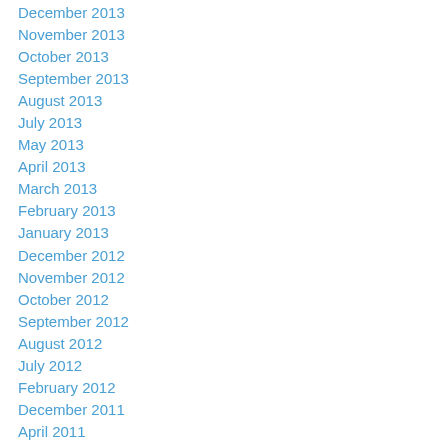December 2013
November 2013
October 2013
September 2013
August 2013
July 2013
May 2013
April 2013
March 2013
February 2013
January 2013
December 2012
November 2012
October 2012
September 2012
August 2012
July 2012
February 2012
December 2011
April 2011